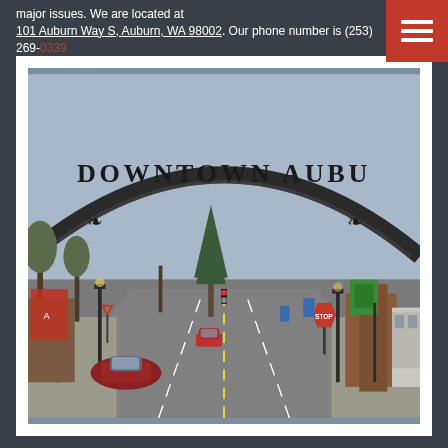major issues. We are located at 101 Auburn Way S, Auburn, WA 98002. Our phone number is (253) 269-0339
[Figure (photo): Street-level photograph of downtown Auburn, Washington. A large decorative arch spans the road reading 'DOWNTOWN AUBURN'. The view looks down the main street with trees, street lamps, storefronts, traffic lights, a stop sign, and a few cars visible. The sky is overcast and grey.]